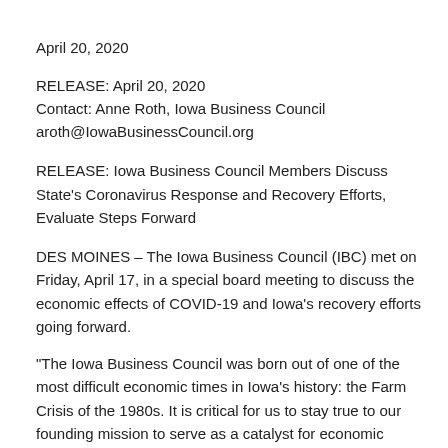April 20, 2020
RELEASE: April 20, 2020
Contact: Anne Roth, Iowa Business Council
aroth@IowaBusinessCouncil.org
RELEASE: Iowa Business Council Members Discuss State's Coronavirus Response and Recovery Efforts, Evaluate Steps Forward
DES MOINES – The Iowa Business Council (IBC) met on Friday, April 17, in a special board meeting to discuss the economic effects of COVID-19 and Iowa's recovery efforts going forward.
"The Iowa Business Council was born out of one of the most difficult economic times in Iowa's history: the Farm Crisis of the 1980s. It is critical for us to stay true to our founding mission to serve as a catalyst for economic growth in Iowa," IBC Board Chair Mary Andringa stated. "As leaders of some of the largest businesses in the state, it is important for us to come together and share insights and ideas to respond to the global pandemic